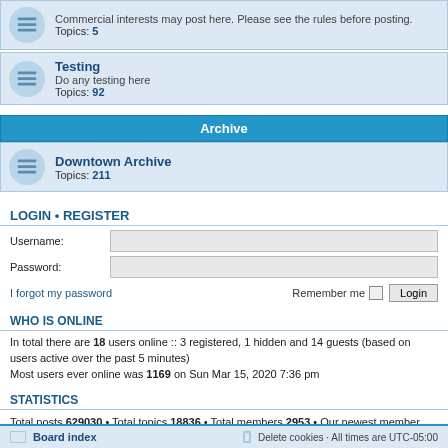Commercial interests may post here. Please see the rules before posting. Topics: 5
Testing
Do any testing here. Topics: 92
Archive
Downtown Archive
Topics: 211
LOGIN • REGISTER
Username:
Password:
I forgot my password   Remember me   Login
WHO IS ONLINE
In total there are 18 users online :: 3 registered, 1 hidden and 14 guests (based on users active over the past 5 minutes)
Most users ever online was 1169 on Sun Mar 15, 2020 7:36 pm
STATISTICS
Total posts 629030 • Total topics 18836 • Total members 2953 • Our newest member Fountains
Board index   Delete cookies   All times are UTC-05:00